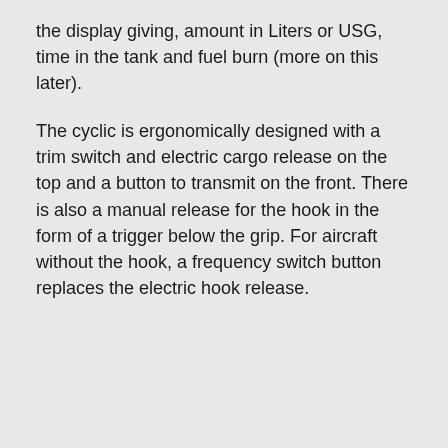the display giving, amount in Liters or USG, time in the tank and fuel burn (more on this later).
The cyclic is ergonomically designed with a trim switch and electric cargo release on the top and a button to transmit on the front. There is also a manual release for the hook in the form of a trigger below the grip. For aircraft without the hook, a frequency switch button replaces the electric hook release.